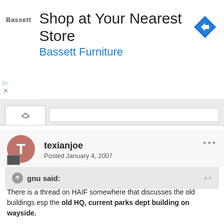[Figure (infographic): Bassett Furniture advertisement banner: 'Shop at Your Nearest Store' with Bassett logo and blue arrow navigation icon]
texianjoe
Posted January 4, 2007
gnu said:
There is a thread on HAIF somewhere that discusses the old buildings esp the old HQ, current parks dept building on wayside.
The building on telephone road is currently the Ambox building (i think they make boxes). It's on the NW corner of Telephone and Westover. There is a picture on the internet somewhere of JFK looking at some mockups or some such inside that building.